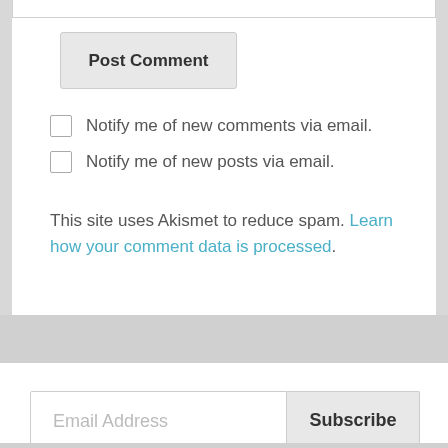Post Comment
Notify me of new comments via email.
Notify me of new posts via email.
This site uses Akismet to reduce spam. Learn how your comment data is processed.
Email Address
Subscribe